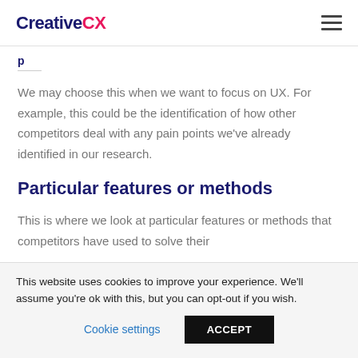Creative CX
p
We may choose this when we want to focus on UX. For example, this could be the identification of how other competitors deal with any pain points we've already identified in our research.
Particular features or methods
This is where we look at particular features or methods that competitors have used to solve their
This website uses cookies to improve your experience. We'll assume you're ok with this, but you can opt-out if you wish.
Cookie settings  ACCEPT